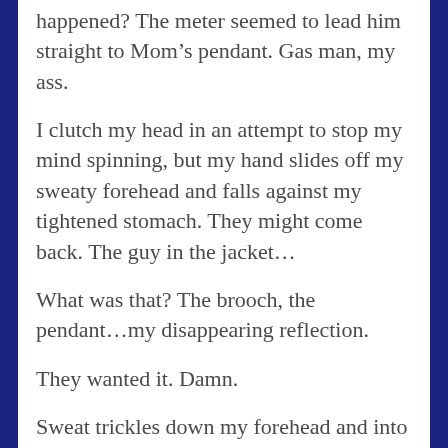happened? The meter seemed to lead him straight to Mom’s pendant. Gas man, my ass.
I clutch my head in an attempt to stop my mind spinning, but my hand slides off my sweaty forehead and falls against my tightened stomach. They might come back. The guy in the jacket…
What was that? The brooch, the pendant…my disappearing reflection.
They wanted it. Damn.
Sweat trickles down my forehead and into my eyes. I wipe it away with a trembling hand. Questions hurtle through my mind, all jumbling together as they race faster and faster in my mind.